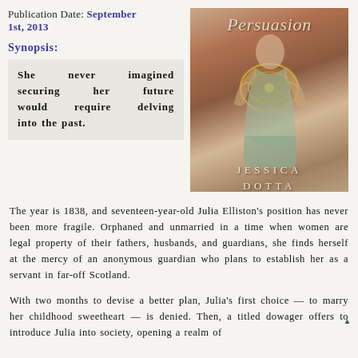Publication Date: September 1st, 2013
Synopsis:
[Figure (photo): Book cover of 'Persuasion' by Jessica Dotta, featuring a woman in a period dress with ornate golden emblem, set against a pink building background.]
She never imagined securing her future would require delving into the past.
The year is 1838, and seventeen-year-old Julia Elliston's position has never been more fragile. Orphaned and unmarried in a time when women are legal property of their fathers, husbands, and guardians, she finds herself at the mercy of an anonymous guardian who plans to establish her as a servant in far-off Scotland.
With two months to devise a better plan, Julia's first choice — to marry her childhood sweetheart — is denied. Then, a titled dowager offers to introduce Julia into society, opening a realm of